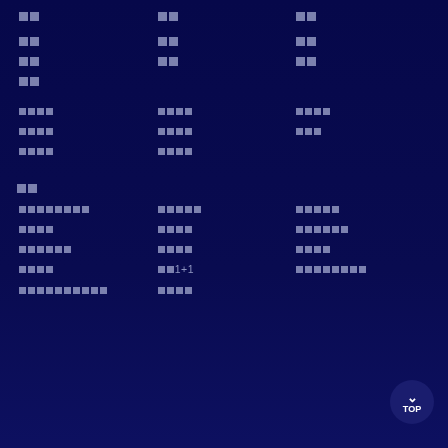□□  □□  □□
□□  □□  □□
□□  □□  □□
□□
□□□□  □□□□  □□□□
□□□□  □□□□  □□□
□□□□  □□□□
□□
□□□□□□□□  □□□□□  □□□□
□□□□  □□□□  □□□□□□
□□□□□□  □□□□  □□□□
□□□□  □□1+1  □□□□□□□□
□□□□□□□□□□  □□□□